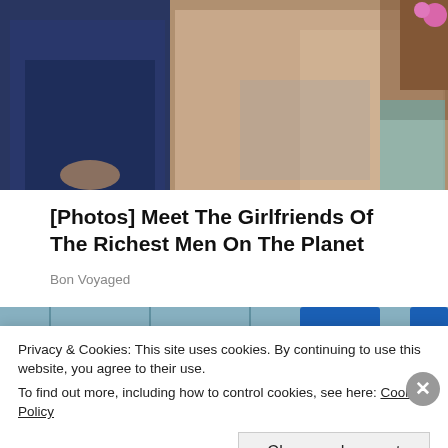[Figure (photo): Photo of a man in a dark suit and a woman in a beige lace outfit sitting together]
[Photos] Meet The Girlfriends Of The Richest Men On The Planet
Bon Voyaged
[Figure (photo): Interior of a busy Walmart store with shoppers and merchandise aisles]
Privacy & Cookies: This site uses cookies. By continuing to use this website, you agree to their use.
To find out more, including how to control cookies, see here: Cookie Policy
Close and accept